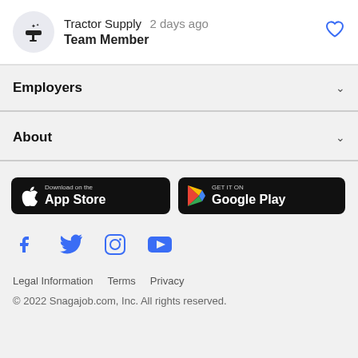Tractor Supply  2 days ago
Team Member
Employers
About
[Figure (other): App store download buttons: 'Download on the App Store' and 'GET IT ON Google Play']
[Figure (other): Social media icons: Facebook, Twitter, Instagram, YouTube]
Legal Information   Terms   Privacy
© 2022 Snagajob.com, Inc. All rights reserved.